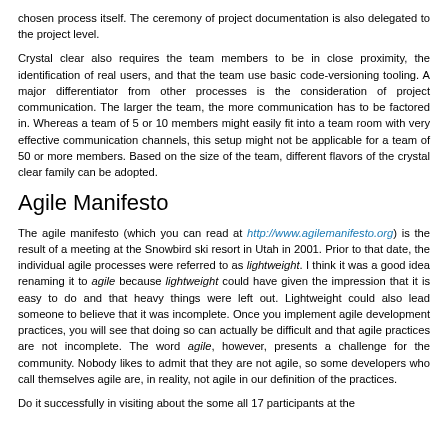chosen process itself. The ceremony of project documentation is also delegated to the project level.
Crystal clear also requires the team members to be in close proximity, the identification of real users, and that the team use basic code-versioning tooling. A major differentiator from other processes is the consideration of project communication. The larger the team, the more communication has to be factored in. Whereas a team of 5 or 10 members might easily fit into a team room with very effective communication channels, this setup might not be applicable for a team of 50 or more members. Based on the size of the team, different flavors of the crystal clear family can be adopted.
Agile Manifesto
The agile manifesto (which you can read at http://www.agilemanifesto.org) is the result of a meeting at the Snowbird ski resort in Utah in 2001. Prior to that date, the individual agile processes were referred to as lightweight. I think it was a good idea renaming it to agile because lightweight could have given the impression that it is easy to do and that heavy things were left out. Lightweight could also lead someone to believe that it was incomplete. Once you implement agile development practices, you will see that doing so can actually be difficult and that agile practices are not incomplete. The word agile, however, presents a challenge for the community. Nobody likes to admit that they are not agile, so some developers who call themselves agile are, in reality, not agile in our definition of the practices.
Do it successfully in visiting about the some all 17 participants at the